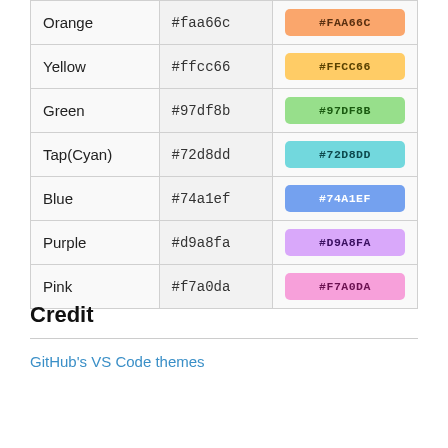| Name | Hex Code | Swatch |
| --- | --- | --- |
| Orange | #faa66c | #FAA66C |
| Yellow | #ffcc66 | #FFCC66 |
| Green | #97df8b | #97DF8B |
| Tap(Cyan) | #72d8dd | #72D8DD |
| Blue | #74a1ef | #74A1EF |
| Purple | #d9a8fa | #D9A8FA |
| Pink | #f7a0da | #F7A0DA |
Credit
GitHub's VS Code themes